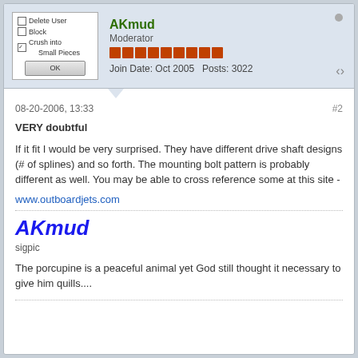[Figure (screenshot): Forum user avatar area with checkboxes: Delete User, Block, Crush into Small Pieces (checked), and OK button]
AKmud
Moderator
Join Date: Oct 2005   Posts: 3022
08-20-2006, 13:33
#2
VERY doubtful

If it fit I would be very surprised. They have different drive shaft designs (# of splines) and so forth. The mounting bolt pattern is probably different as well. You may be able to cross reference some at this site -
www.outboardjets.com
AKmud
sigpic

The porcupine is a peaceful animal yet God still thought it necessary to give him quills....